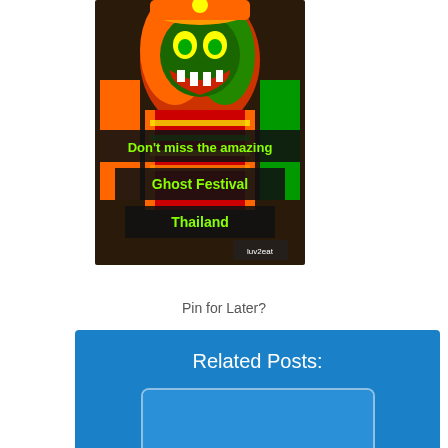[Figure (photo): Colorful festival costume photo with text overlay: 'Don't miss the amazing Ghost Festival Thailand' with a small logo at bottom right]
Pin for Later?
Related Posts:
Our Favorite Cities In The World - From A to Z